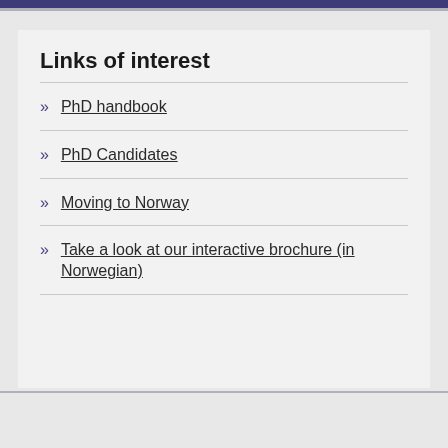Links of interest
PhD handbook
PhD Candidates
Moving to Norway
Take a look at our interactive brochure (in Norwegian)